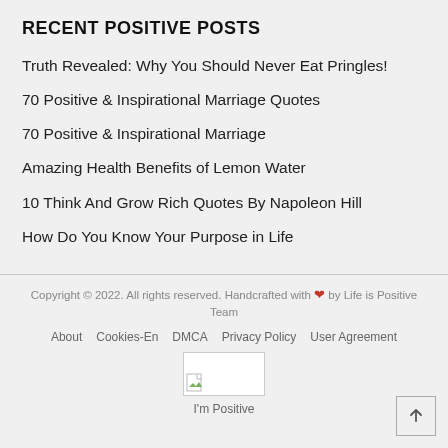RECENT POSITIVE POSTS
Truth Revealed: Why You Should Never Eat Pringles!
70 Positive & Inspirational Marriage Quotes
70 Positive & Inspirational Marriage
Amazing Health Benefits of Lemon Water
10 Think And Grow Rich Quotes By Napoleon Hill
How Do You Know Your Purpose in Life
Copyright © 2022. All rights reserved. Handcrafted with ❤ by Life is Positive Team
About   Cookies-En   DMCA   Privacy Policy   User Agreement
I'm Positive